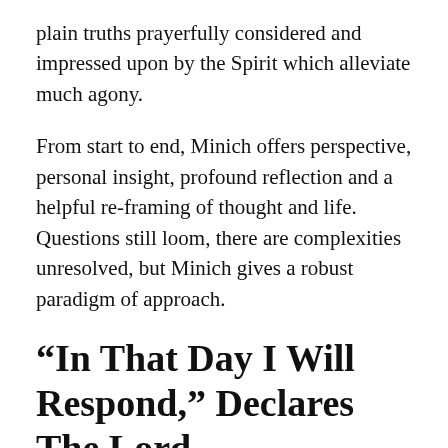plain truths prayerfully considered and impressed upon by the Spirit which alleviate much agony.
From start to end, Minich offers perspective, personal insight, profound reflection and a helpful re-framing of thought and life. Questions still loom, there are complexities unresolved, but Minich gives a robust paradigm of approach.
“In That Day I Will Respond,” Declares The Lord